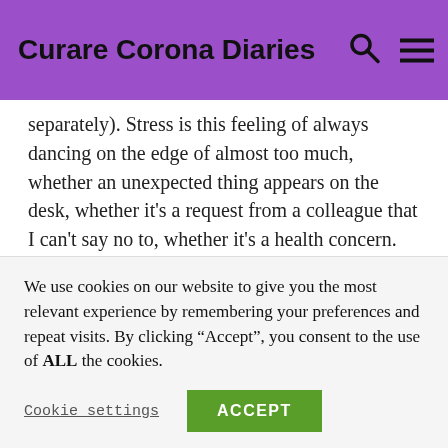Curare Corona Diaries
separately). Stress is this feeling of always dancing on the edge of almost too much, whether an unexpected thing appears on the desk, whether it's a request from a colleague that I can't say no to, whether it's a health concern. And now we do have Covid as an enormous stress-factor in the collective conscious… in a way 'overshadowing' any personal issues, while at the same time fuelling introspection and reflection on existential questions. Indeed, a time full of possibilities and potential, while also needing to stay kind and compassionate towards our
We use cookies on our website to give you the most relevant experience by remembering your preferences and repeat visits. By clicking "Accept", you consent to the use of ALL the cookies.
Cookie settings | ACCEPT